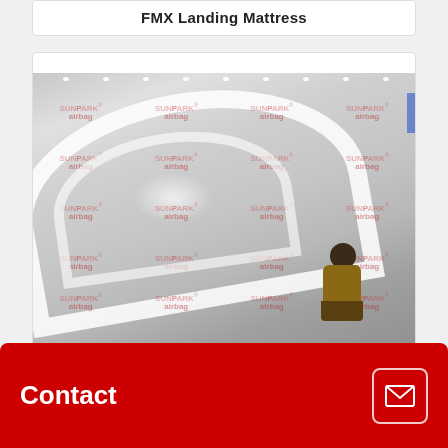FMX Landing Mattress
[Figure (photo): Photo of a large white inflatable FMX landing mattress inside an indoor facility, with SUNPARK airbag watermarks repeated across the image. A person in brown jacket and dark hat is visible on the right side of the mattress. The mattress has curved white structural elements. Ceiling lights are visible at the top.]
Contact